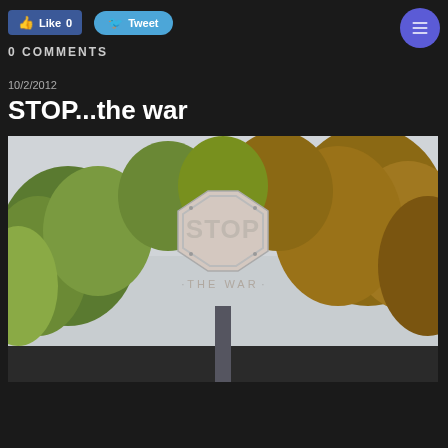[Figure (other): Facebook Like button (0 likes) and Twitter Tweet button at top of page]
0 COMMENTS
10/2/2012
STOP...the war
[Figure (photo): Photo of a vandalized STOP sign with 'THE WAR' written below the word STOP, surrounded by autumn trees with orange and green foliage against a grey sky]